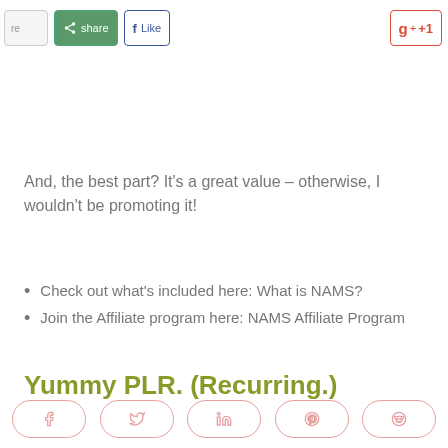[Figure (screenshot): Social media share buttons row at top: partial button, green Share button with icon, Facebook Like button, Google +1 button]
And, the best part? It's a great value – otherwise, I wouldn't be promoting it!
Check out what's included here: What is NAMS?
Join the Affiliate program here: NAMS Affiliate Program
Yummy PLR. (Recurring.)
[Figure (screenshot): Social sharing buttons row at bottom: Facebook, Twitter, LinkedIn, Pinterest, Reddit — rounded pill-style buttons with salmon/pink border]